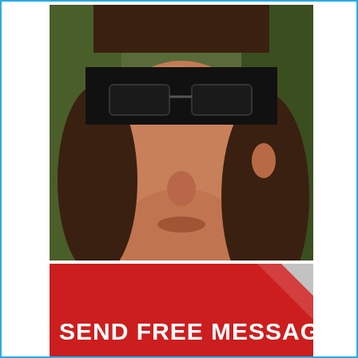[Figure (photo): Close-up photo of a person's face with eyes obscured by a black redaction bar. The person has light skin, dark hair visible on sides, and appears to be an adult. Background is slightly blurred greenery.]
SEND FREE MESSAGE